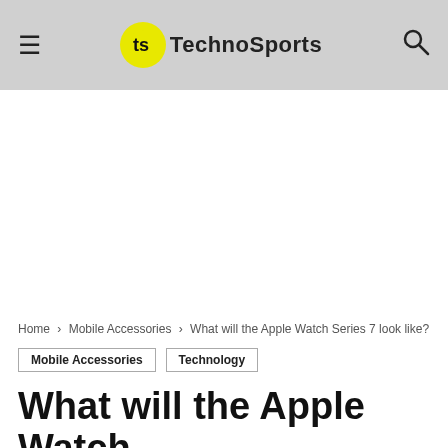TechnoSports
[Figure (other): White advertisement/content area]
Home > Mobile Accessories > What will the Apple Watch Series 7 look like?
Mobile Accessories
Technology
What will the Apple Watch